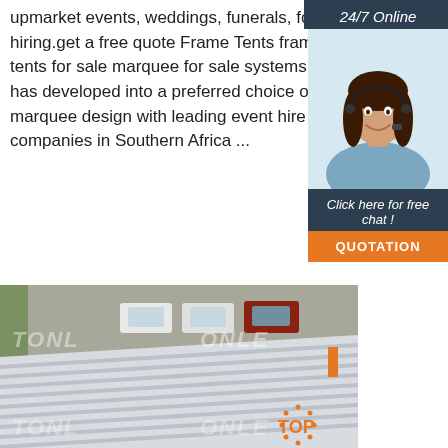upmarket events, weddings, funerals, for hiring.get a free quote Frame Tents frame tents for sale marquee for sale systems has developed into a preferred choice of marquee design with leading event hire companies in Southern Africa ...
Get Price
[Figure (screenshot): 24/7 Online widget showing a female customer service agent with headset, with 'Click here for free chat!' text and an orange QUOTATION button on a dark blue-grey background]
[Figure (photo): Aerial view of a large white marquee tent roof with ridges, with cars parked on pavement in the background. Watermark text 'TONL...ONLE' overlaid. Orange TOP badge in bottom right.]